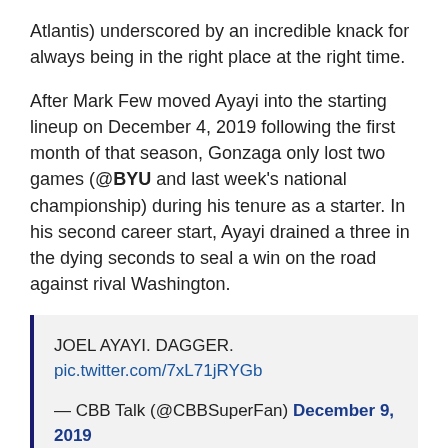Atlantis) underscored by an incredible knack for always being in the right place at the right time.
After Mark Few moved Ayayi into the starting lineup on December 4, 2019 following the first month of that season, Gonzaga only lost two games (@BYU and last week's national championship) during his tenure as a starter. In his second career start, Ayayi drained a three in the dying seconds to seal a win on the road against rival Washington.
JOEL AYAYI. DAGGER.
pic.twitter.com/7xL71jRYGb

— CBB Talk (@CBBSuperFan) December 9, 2019